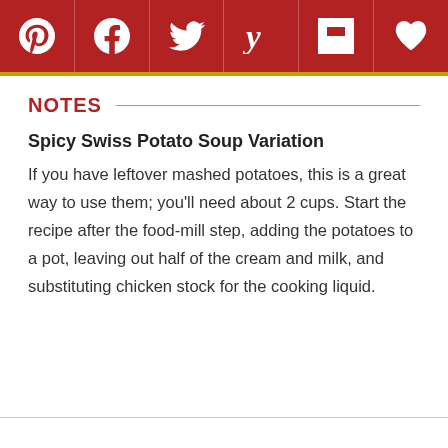[Figure (other): Social sharing icon bar with Pinterest, Facebook, Twitter, Yummly, Flipboard, and heart/save icons on dark red background]
NOTES
Spicy Swiss Potato Soup Variation
If you have leftover mashed potatoes, this is a great way to use them; you’ll need about 2 cups. Start the recipe after the food-mill step, adding the potatoes to a pot, leaving out half of the cream and milk, and substituting chicken stock for the cooking liquid.